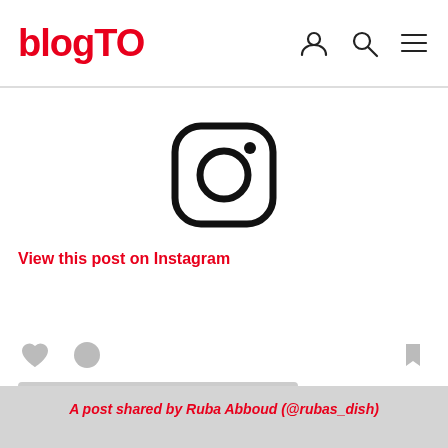blogTO
[Figure (screenshot): Instagram embed placeholder showing the Instagram camera icon, 'View this post on Instagram' link in red, social action icons (heart, comment, bookmark), placeholder loading bars, and a footer caption 'A post shared by Ruba Abboud (@rubas_dish)']